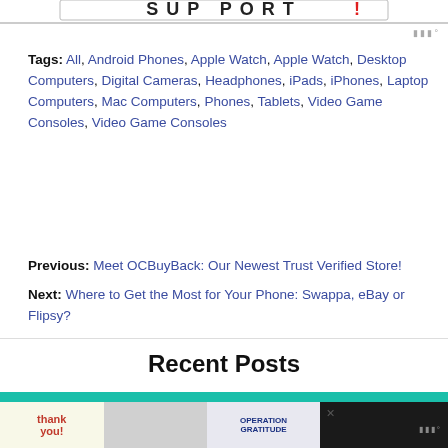[Figure (logo): Partial logo/banner at top of page]
Tags: All, Android Phones, Apple Watch, Apple Watch, Desktop Computers, Digital Cameras, Headphones, iPads, iPhones, Laptop Computers, Mac Computers, Phones, Tablets, Video Game Consoles, Video Game Consoles
Previous: Meet OCBuyBack: Our Newest Trust Verified Store!
Next: Where to Get the Most for Your Phone: Swappa, eBay or Flipsy?
Recent Posts
[Figure (photo): Teal colored card area for Recent Posts section]
[Figure (photo): Advertisement banner at bottom: Operation Gratitude thank you ad]